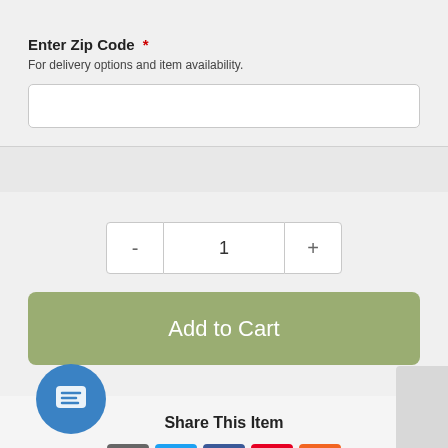Enter Zip Code *
For delivery options and item availability.
[Figure (screenshot): Zip code input text field, empty white box]
[Figure (screenshot): Quantity selector with minus button, 1, and plus button]
[Figure (screenshot): Green Add to Cart button]
Share This Item
[Figure (infographic): Social share icons: email (grey), Twitter (blue), Facebook (dark blue), Pinterest (red), More (orange)]
[Figure (screenshot): Blue circular chat bubble button at bottom left]